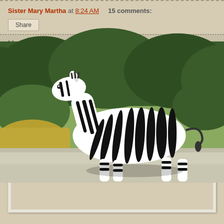Sister Mary Martha at 8:24 AM   15 comments:
Share
Monday, February 04, 2008
Gone Tomorrow, Hair Today
[Figure (photo): A zebra statue or figurine standing on a concrete surface with green shrubs/trees in the background. The zebra is white with black stripes and its head is raised upward.]